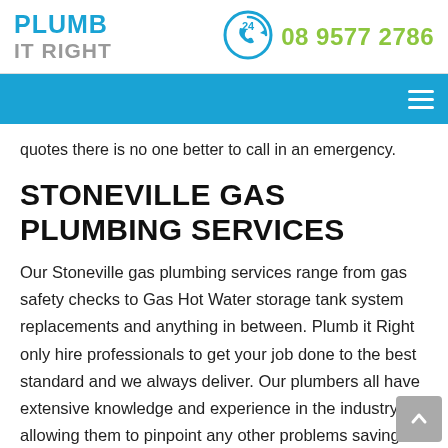[Figure (logo): Plumb It Right logo with blue PLUMB and grey IT RIGHT text]
[Figure (logo): 24-hour phone icon circle with telephone handset]
08 9577 2786
[Figure (other): Blue navigation bar with hamburger menu icon on the right]
quotes there is no one better to call in an emergency.
STONEVILLE GAS PLUMBING SERVICES
Our Stoneville gas plumbing services range from gas safety checks to Gas Hot Water storage tank system replacements and anything in between. Plumb it Right only hire professionals to get your job done to the best standard and we always deliver. Our plumbers all have extensive knowledge and experience in the industry, allowing them to pinpoint any other problems saving you